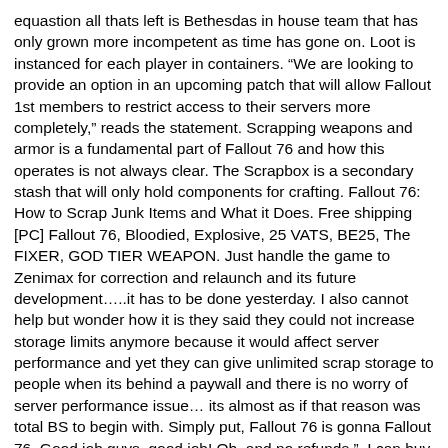equastion all thats left is Bethesdas in house team that has only grown more incompetent as time has gone on. Loot is instanced for each player in containers. "We are looking to provide an option in an upcoming patch that will allow Fallout 1st members to restrict access to their servers more completely," reads the statement. Scrapping weapons and armor is a fundamental part of Fallout 76 and how this operates is not always clear. The Scrapbox is a secondary stash that will only hold components for crafting. Fallout 76: How to Scrap Junk Items and What it Does. Free shipping [PC] Fallout 76, Bloodied, Explosive, 25 VATS, BE25, The FIXER, GOD TIER WEAPON. Just handle the game to Zenimax for correction and relaunch and its future development…..it has to be done yesterday. I also cannot help but wonder how it is they said they could not increase storage limits anymore because it would affect server performance and yet they can give unlimited scrap storage to people when its behind a paywall and there is no worry of server performance issue… its almost as if that reason was total BS to begin with. Simply put, Fallout 76 is gonna Fallout 76. Good job guys, good job! Oh, and no refunds.". I can buy for $16 from Amazon right now and would like to know how good/bad the game is. As Fallout 76 players know, if you loot a container on one server, and then log out and log back in to another server, the container remains in a âlootedâ state for a period of time. âHowever, we have since found that a small number of players have in fact experienced a loss of scrap items after placing them into the Scrap Box and then loading into a world." Bethesda has called addressing this matter a "top priority" and the devs are actively working on ways to restore lost items. TSE Automatic Fixer; EN. to keep resetting loot. This requires players to â¦ Rumor: Overwatch 2